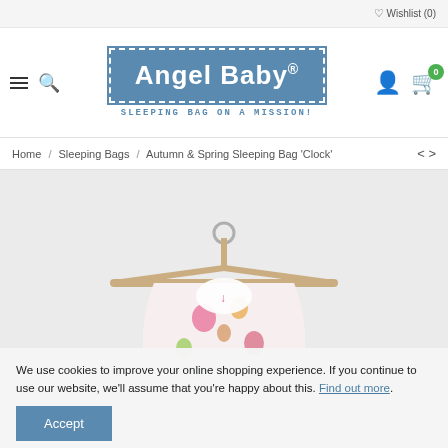Wishlist (0)
[Figure (logo): Angel Baby logo - blue box with dashed white border, brand name in white, tagline 'SLEEPING BAG ON A MISSION!' in teal monospace below]
Home / Sleeping Bags / Autumn & Spring Sleeping Bag 'Clock'
[Figure (photo): Baby sleeping bag on a wooden clothes hanger against a light grey background, floral print fabric with pinks, oranges, and greens]
We use cookies to improve your online shopping experience. If you continue to use our website, we'll assume that you're happy about this. Find out more.
Accept